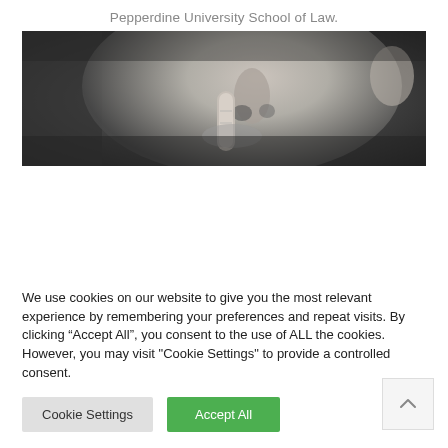Pepperdine University School of Law.
[Figure (photo): Black and white close-up photograph of a child's face with a finger held up to the lips in a 'shush' or silence gesture.]
We use cookies on our website to give you the most relevant experience by remembering your preferences and repeat visits. By clicking “Accept All”, you consent to the use of ALL the cookies. However, you may visit "Cookie Settings" to provide a controlled consent.